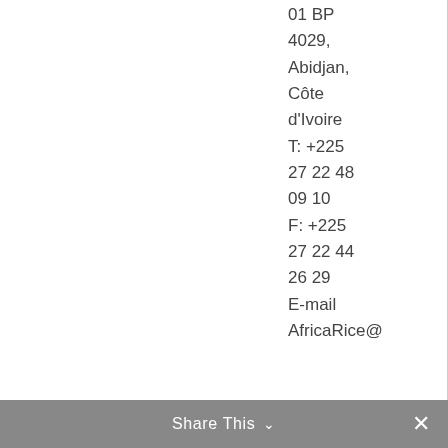01 BP 4029, Abidjan, Côte d'Ivoire T: +225 27 22 48 09 10 F: +225 27 22 44 26 29 E-mail AfricaRice@
Share This ∨  ✕